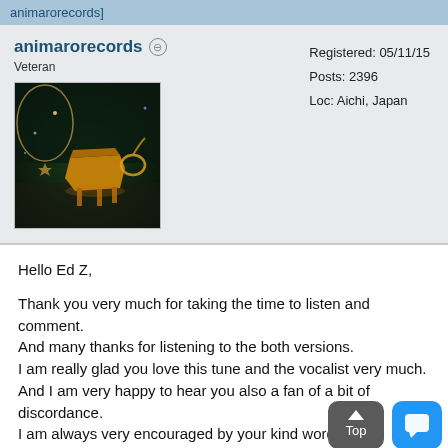animarorecords]
animarorecords ⊖
Veteran
Registered: 05/11/15
Posts: 2396
Loc: Aichi, Japan
[Figure (photo): Avatar image showing a grand piano outdoors at night with decorative lighting]
Hello Ed Z,

Thank you very much for taking the time to listen and comment.
And many thanks for listening to the both versions.
I am really glad you love this tune and the vocalist very much.
And I am very happy to hear you also a fan of a bit of discordance.
I am always very encouraged by your kind words.